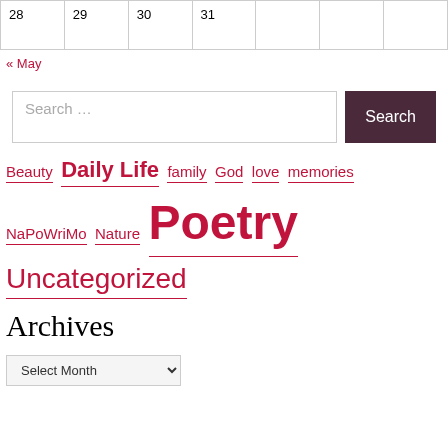| 28 | 29 | 30 | 31 |  |  |  |
« May
Search ...
Beauty  Daily Life  family  God  love  memories
NaPoWriMo  Nature  Poetry
Uncategorized
Archives
Select Month